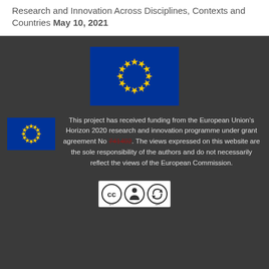Research and Innovation Across Disciplines, Contexts and Countries May 10, 2021
[Figure (logo): Large European Union flag with blue background and circle of 12 yellow stars]
[Figure (logo): Small European Union flag with blue background and circle of 12 yellow stars]
This project has received funding from the European Union's Horizon 2020 research and innovation programme under grant agreement No 741402. The views expressed on this website are the sole responsibility of the authors and do not necessarily reflect the views of the European Commission.
[Figure (logo): Creative Commons BY-SA license badge]